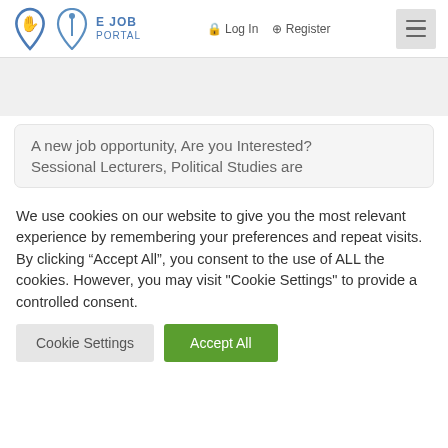E JOB PORTAL | Log In | Register
A new job opportunity, Are you Interested? Sessional Lecturers, Political Studies are
We use cookies on our website to give you the most relevant experience by remembering your preferences and repeat visits. By clicking “Accept All”, you consent to the use of ALL the cookies. However, you may visit "Cookie Settings" to provide a controlled consent.
Cookie Settings | Accept All